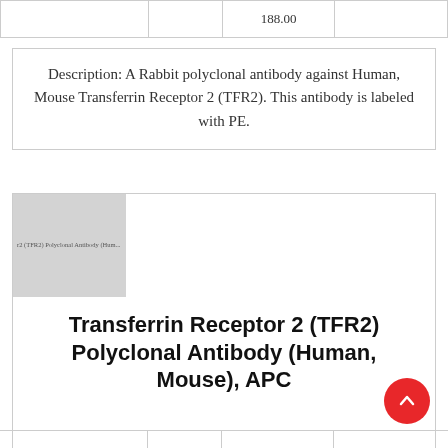|  |  | 188.00 |  |
| --- | --- | --- | --- |
|  |
Description: A Rabbit polyclonal antibody against Human, Mouse Transferrin Receptor 2 (TFR2). This antibody is labeled with PE.
[Figure (photo): Thumbnail image placeholder for Transferrin Receptor 2 (TFR2) Polyclonal Antibody (Human, Mouse) product]
Transferrin Receptor 2 (TFR2) Polyclonal Antibody (Human, Mouse), APC
|  |  |  |  |
| --- | --- | --- | --- |
|  |